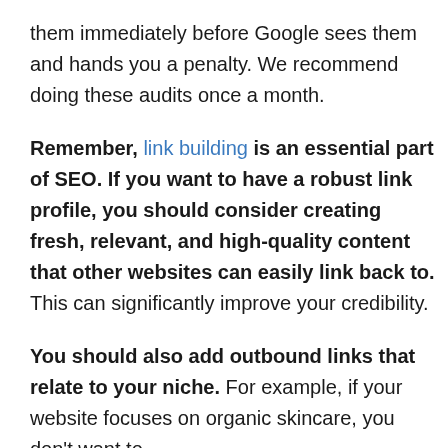them immediately before Google sees them and hands you a penalty. We recommend doing these audits once a month.
Remember, link building is an essential part of SEO. If you want to have a robust link profile, you should consider creating fresh, relevant, and high-quality content that other websites can easily link back to. This can significantly improve your credibility.
You should also add outbound links that relate to your niche. For example, if your website focuses on organic skincare, you don't want to